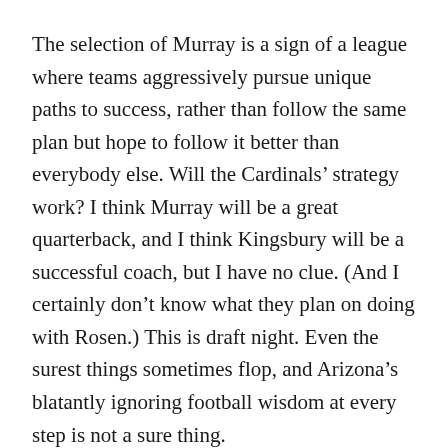The selection of Murray is a sign of a league where teams aggressively pursue unique paths to success, rather than follow the same plan but hope to follow it better than everybody else. Will the Cardinals' strategy work? I think Murray will be a great quarterback, and I think Kingsbury will be a successful coach, but I have no clue. (And I certainly don't know what they plan on doing with Rosen.) This is draft night. Even the surest things sometimes flop, and Arizona's blatantly ignoring football wisdom at every step is not a sure thing.
THE RINGER [logo] [Twitter icon] [Facebook icon]